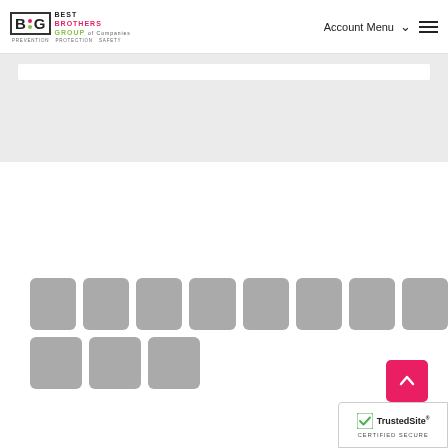[Figure (logo): Best Brothers Group logo with BBG initials in bordered box, tagline PREVENTION PROTECTION SAFETY]
Account Menu
[Figure (screenshot): Gray banner area with white search/input bar at top]
[Figure (photo): Grid of 11 gray placeholder thumbnail boxes in two rows]
[Figure (illustration): Pink scroll-to-top button with upward chevron]
[Figure (logo): TrustedSite Certified Secure badge]